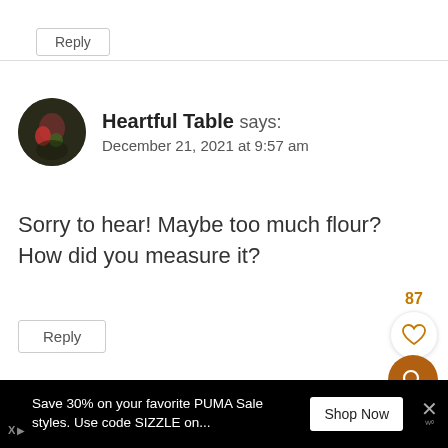Reply
Heartful Table says:
December 21, 2021 at 9:57 am
Sorry to hear! Maybe too much flour? How did you measure it?
Reply
Save 30% on your favorite PUMA Sale styles. Use code SIZZLE on...
Shop Now